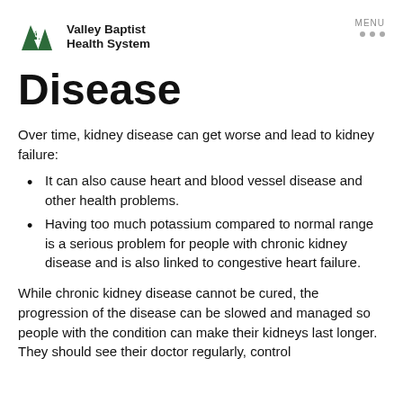Valley Baptist Health System
Disease
Over time, kidney disease can get worse and lead to kidney failure:
It can also cause heart and blood vessel disease and other health problems.
Having too much potassium compared to normal range is a serious problem for people with chronic kidney disease and is also linked to congestive heart failure.
While chronic kidney disease cannot be cured, the progression of the disease can be slowed and managed so people with the condition can make their kidneys last longer. They should see their doctor regularly, control